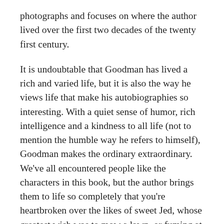photographs and focuses on where the author lived over the first two decades of the twenty first century.
It is undoubtable that Goodman has lived a rich and varied life, but it is also the way he views life that make his autobiographies so interesting. With a quiet sense of humor, rich intelligence and a kindness to all life (not to mention the humble way he refers to himself), Goodman makes the ordinary extraordinary. We've all encountered people like the characters in this book, but the author brings them to life so completely that you're heartbroken over the likes of sweet Jed, whose greatest wish was to mow a lawn, or fuming at the landlords who decide to move in with their tenants (and eat all their food).
Unfortunately, Goodman's brevity leaves you aching for more information. Health crises are covered in a sentence or